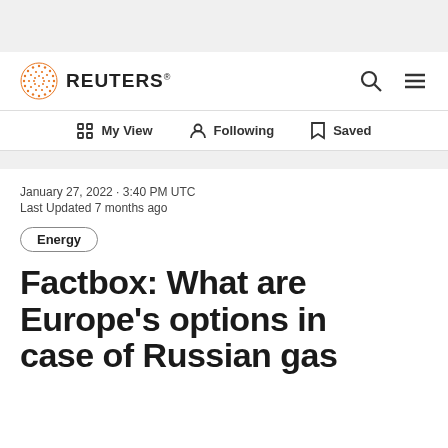REUTERS
My View · Following · Saved
January 27, 2022 · 3:40 PM UTC
Last Updated 7 months ago
Energy
Factbox: What are Europe's options in case of Russian gas